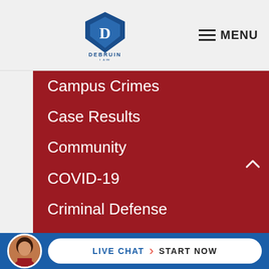[Figure (logo): DeBruin Law logo with blue diamond shield icon and text DEBRUIN LAW]
≡ MENU
Campus Crimes
Case Results
Community
COVID-19
Criminal Defense
Domestic Violence
Drug Charge
Family Law
Firm News
LIVE CHAT  START NOW